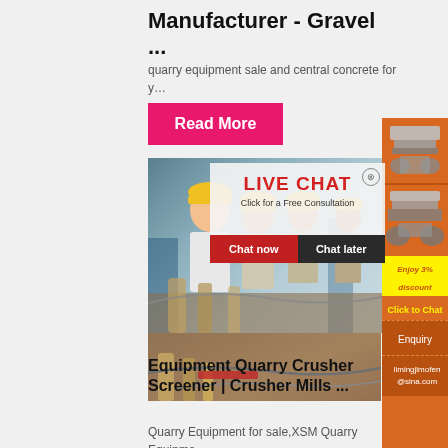Manufacturer - Gravel ...
quarry equipment sale and central concrete for y…
Read More
[Figure (photo): Construction workers wearing yellow hard hats at industrial site, with live chat popup overlay showing 'LIVE CHAT - Click for a Free Consultation' with Chat now and Chat later buttons]
Equipment Quarry Crusher Screener | Crusher Mills ...
Quarry Equipment for sale,XSM Quarry Equipme…
[Figure (infographic): Right side orange advertisement panel with machinery images, 'Enjoy 3% discount', 'Click to Chat', 'Enquiry', and email contact limingjlmofen@sina.com]